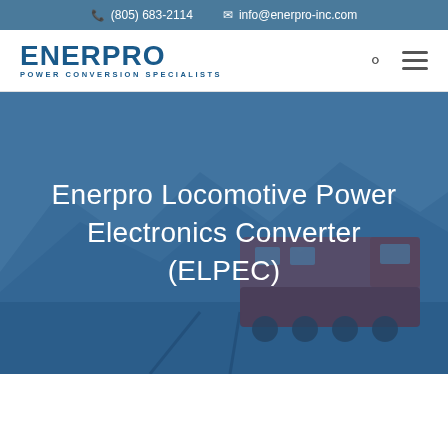(805) 683-2114  info@enerpro-inc.com
[Figure (logo): Enerpro Power Conversion Specialists logo — bold blue text reading ENERPRO with subtitle POWER CONVERSION SPECIALISTS]
[Figure (photo): Hero image of a red locomotive on railroad tracks with mountains and blue sky in the background, overlaid with a semi-transparent blue tint. Text overlay reads: Enerpro Locomotive Power Electronics Converter (ELPEC)]
Enerpro Locomotive Power Electronics Converter (ELPEC)